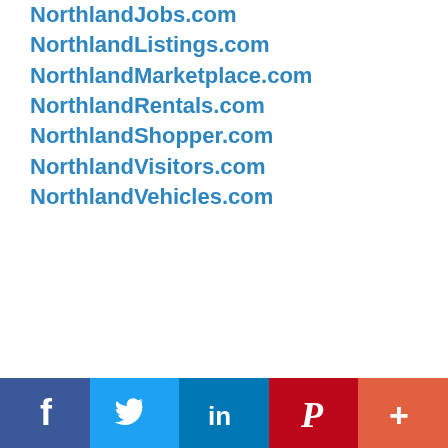NorthlandJobs.com
NorthlandListings.com
NorthlandMarketplace.com
NorthlandRentals.com
NorthlandShopper.com
NorthlandVisitors.com
NorthlandVehicles.com
[Figure (infographic): Social media sharing bar with Facebook (dark blue), Twitter (light blue), LinkedIn (medium blue), Pinterest (red), and More/Plus (orange-red) buttons with white icons]